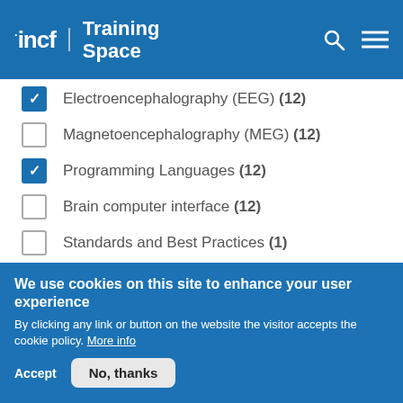[Figure (logo): INCF Training Space logo on blue header with search and menu icons]
Electroencephalography (EEG) (12) — checked
Magnetoencephalography (MEG) (12) — unchecked
Programming Languages (12) — checked
Brain computer interface (12) — unchecked
Standards and Best Practices (1) — unchecked
Connectomics (3) — unchecked
Version control (1) — unchecked
We use cookies on this site to enhance your user experience
By clicking any link or button on the website the visitor accepts the cookie policy. More info
Accept  No, thanks